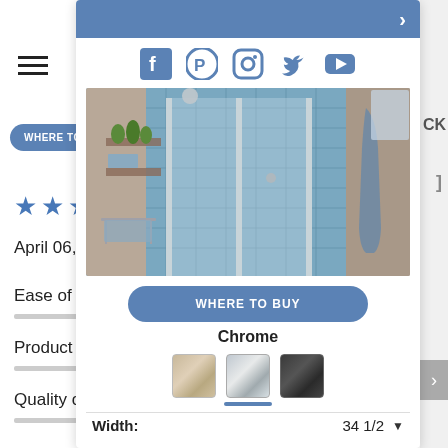[Figure (screenshot): Website product page screenshot showing a shower enclosure product with social media icons, product photo, WHERE TO BUY button, Chrome color swatches, and width specification]
WHERE TO BUY
April 06, 2021
Ease of Installation
Product Features
Quality of Product
WHERE TO BUY
Chrome
Width:
34 1/2